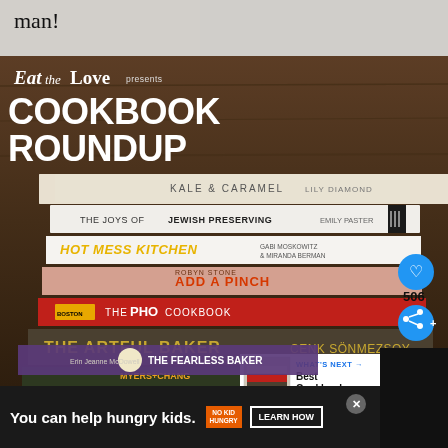man!
[Figure (photo): Eat the Love presents Cookbook Roundup — a stack of cookbooks including Kale & Caramel, The Joys of Jewish Preserving, Hot Mess Kitchen, Add a Pinch, The Pho Cookbook, The Artful Baker, Myers+Chang at Home, and The Fearless Baker, photographed against a dark wood background. UI overlays show a heart button with 506 likes, a share button, and a 'What's Next: Best Cookbooks...' panel.]
You can help hungry kids. NO KID HUNGRY LEARN HOW